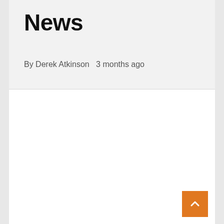News
By Derek Atkinson   3 months ago
[Figure (other): White content area panel below the header, largely empty]